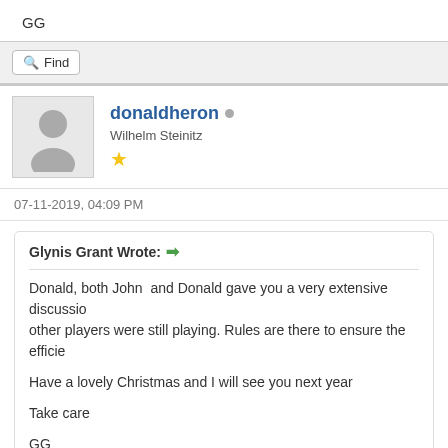GG
Find
donaldheron
Wilhelm Steinitz
07-11-2019, 04:09 PM
Glynis Grant Wrote: → Donald, both John  and Donald gave you a very extensive discussion other players were still playing. Rules are there to ensure the efficie Have a lovely Christmas and I will see you next year Take care GG